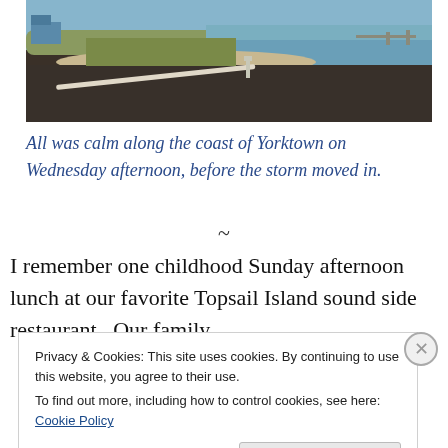[Figure (photo): Coastal road along Yorktown waterfront, showing a paved road curving along the shore with sandy beach, marsh grass, and calm water in the background under a clear sky.]
All was calm along the coast of Yorktown on Wednesday afternoon, before the storm moved in.
~
I remember one childhood Sunday afternoon lunch at our favorite Topsail Island sound side restaurant.  Our family
Privacy & Cookies: This site uses cookies. By continuing to use this website, you agree to their use.
To find out more, including how to control cookies, see here: Cookie Policy
Close and accept